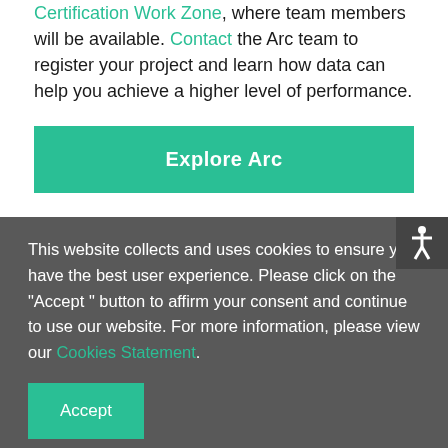Certification Work Zone, where team members will be available. Contact the Arc team to register your project and learn how data can help you achieve a higher level of performance.
Explore Arc
This website collects and uses cookies to ensure you have the best user experience. Please click on the "Accept " button to affirm your consent and continue to use our website. For more information, please view our Cookies Statement.
Accept